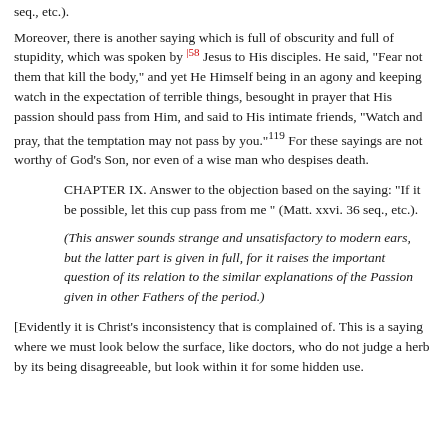seq., etc.).
Moreover, there is another saying which is full of obscurity and full of stupidity, which was spoken by |58 Jesus to His disciples. He said, "Fear not them that kill the body," and yet He Himself being in an agony and keeping watch in the expectation of terrible things, besought in prayer that His passion should pass from Him, and said to His intimate friends, "Watch and pray, that the temptation may not pass by you."119 For these sayings are not worthy of God's Son, nor even of a wise man who despises death.
CHAPTER IX. Answer to the objection based on the saying: "If it be possible, let this cup pass from me" (Matt. xxvi. 36 seq., etc.).
(This answer sounds strange and unsatisfactory to modern ears, but the latter part is given in full, for it raises the important question of its relation to the similar explanations of the Passion given in other Fathers of the period.)
[Evidently it is Christ's inconsistency that is complained of. This is a saying where we must look below the surface, like doctors, who do not judge a herb by its being disagreeable, but look within it for some hidden use.